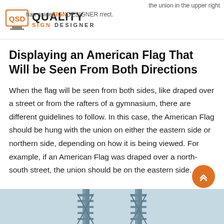Quality Sign Designer
Displaying an American Flag That Will be Seen From Both Directions
When the flag will be seen from both sides, like draped over a street or from the rafters of a gymnasium, there are different guidelines to follow. In this case, the American Flag should be hung with the union on either the eastern side or northern side, depending on how it is being viewed. For example, if an American Flag was draped over a north-south street, the union should be on the eastern side.
[Figure (photo): Partial image of a bridge (appears to be a suspension or steel truss bridge) at the bottom of the page, with a light blue-grey background.]